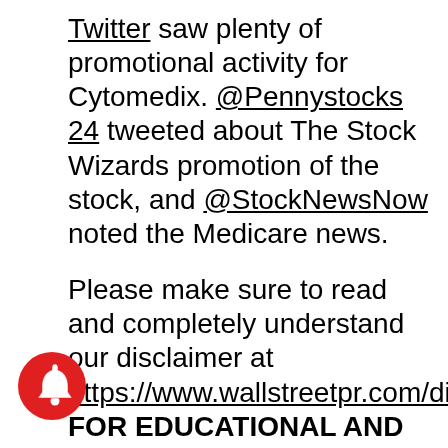Twitter saw plenty of promotional activity for Cytomedix. @Pennystocks 24 tweeted about The Stock Wizards promotion of the stock, and @StockNewsNow noted the Medicare news.
Please make sure to read and completely understand our disclaimer at https://www.wallstreetpr.com/disclaimer. FOR EDUCATIONAL AND INFORMATION PURPOSES ONLY; NOT INVESTMENT ADVICE. Any content posted on our website is for educational and informational purposes only and should NOT be construed as a securities
[Figure (illustration): Red circular notification bell icon in the bottom-left corner of the page]